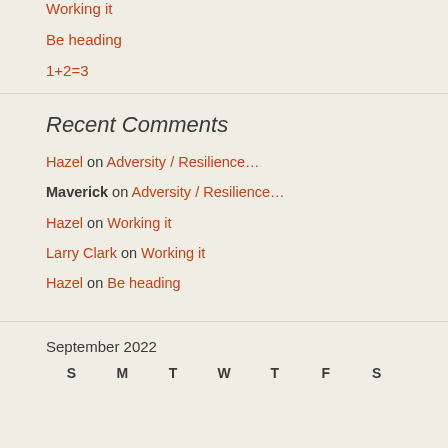Working it
Be heading
1+2=3
Recent Comments
Hazel on Adversity / Resilience…
Maverick on Adversity / Resilience…
Hazel on Working it
Larry Clark on Working it
Hazel on Be heading
September 2022
| S | M | T | W | T | F | S |
| --- | --- | --- | --- | --- | --- | --- |